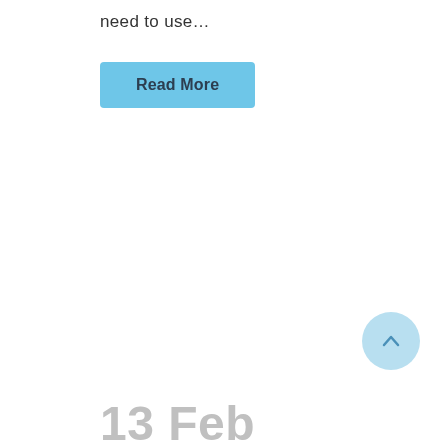need to use…
Read More
[Figure (other): Light blue circular scroll-to-top button with an upward chevron arrow]
13 Feb